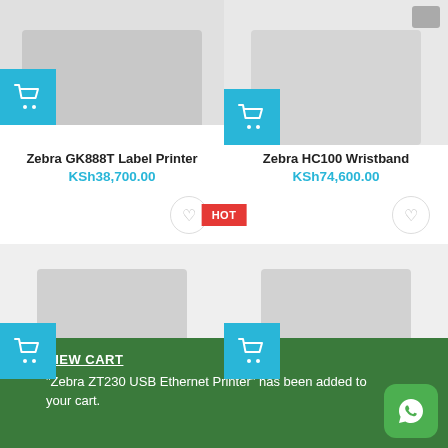[Figure (screenshot): Product image of Zebra GK888T Label Printer with add to cart button]
Zebra GK888T Label Printer
KSh38,700.00
[Figure (screenshot): Product image of Zebra HC100 Wristband with add to cart button]
Zebra HC100 Wristband
KSh74,600.00
HOT
[Figure (screenshot): Product image area for Zebra L2208 Barcode Scanner with add to cart button]
Zebra L2208 Barcode Scanner
KSh12,600.00
[Figure (screenshot): Product image area for Zebra Symbol DS7708 Barcode Scanner with add to cart button]
Zebra Symbol DS7708 Barcode Scanner
VIEW CART
"Zebra ZT230 USB Ethernet Printer" has been added to your cart.